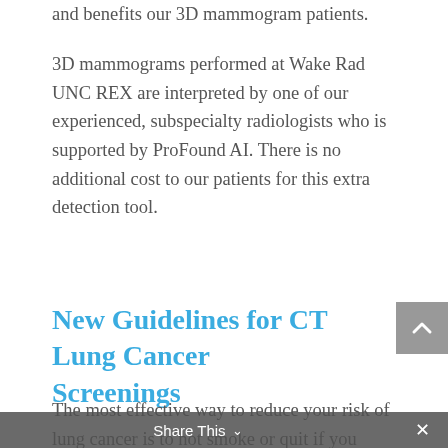and benefits our 3D mammogram patients.
3D mammograms performed at Wake Rad UNC REX are interpreted by one of our experienced, subspecialty radiologists who is supported by ProFound AI. There is no additional cost to our patients for this extra detection tool.
New Guidelines for CT Lung Cancer Screenings
The most effective way to reduce your risk of lung cancer is to not smoke or quit if you do. The next best option is lung cancer screening.